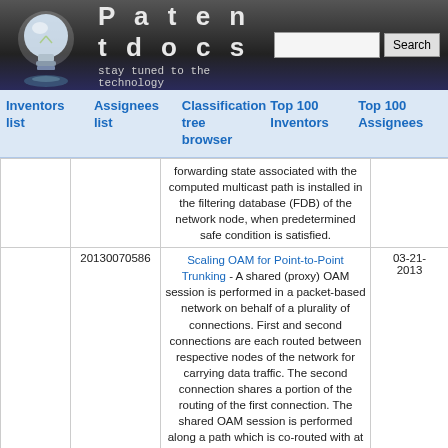[Figure (logo): Patentdocs website header with lightbulb logo, site title 'Patentdocs', tagline 'stay tuned to the technology', and search bar]
Inventors list | Assignees list | Classification tree browser | Top 100 Inventors | Top 100 Assignees
|  | 20130070586 | (description) | 03-21-2013 |
| --- | --- | --- | --- |
|  |  | forwarding state associated with the computed multicast path is installed in the filtering database (FDB) of the network node, when predetermined safe condition is satisfied. |  |
|  | 20130070586 | Scaling OAM for Point-to-Point Trunking - A shared (proxy) OAM session is performed in a packet-based network on behalf of a plurality of connections. First and second connections are each routed between respective nodes of the network for carrying data traffic. The second connection shares a portion of the routing of the first connection. The shared OAM session is performed along a path which is co-routed with at least part of the shared portion of the routing of the first connection and the second connection. Failure notification signalling is propagated to an endpoint node of each of the first and second connections | 03-21-2013 |